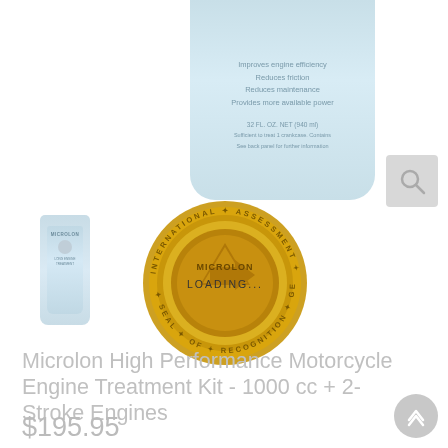[Figure (photo): Product image of Microlon High Performance Motorcycle Engine Treatment Kit bottle - top portion visible with text listing benefits: Improves engine efficiency, Reduces friction, Reduces maintenance, Provides more available power. Shows 32 FL. OZ. NET (940 ml). Blue/light colored bottle partially shown from top.]
[Figure (photo): Small thumbnail image of Microlon bottle product in lower left area.]
[Figure (logo): Gold circular medallion/seal with INTERNATIONAL text around the rim and MICROLON logo in center with a loading indicator overlay showing 'MICROLON LOADING...' text on the seal.]
Microlon High Performance Motorcycle Engine Treatment Kit - 1000 cc + 2-Stroke Engines
$195.95